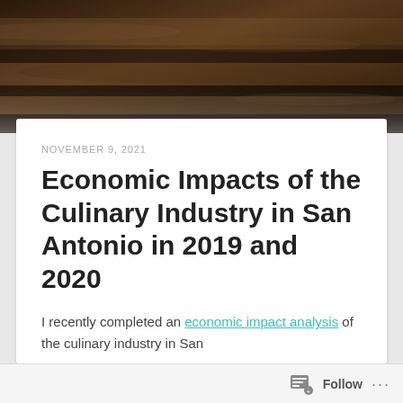[Figure (photo): Dark moody overhead photo of a road or wooden surface with earthy brown and shadow tones]
NOVEMBER 9, 2021
Economic Impacts of the Culinary Industry in San Antonio in 2019 and 2020
I recently completed an economic impact analysis of the culinary industry in San
Follow ...